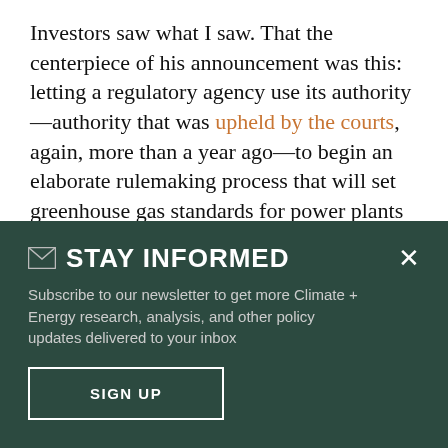Investors saw what I saw. That the centerpiece of his announcement was this: letting a regulatory agency use its authority—authority that was upheld by the courts, again, more than a year ago—to begin an elaborate rulemaking process that will set greenhouse gas standards for power plants that, even if they avoid delay from appeals
✉ STAY INFORMED
Subscribe to our newsletter to get more Climate + Energy research, analysis, and other policy updates delivered to your inbox
SIGN UP